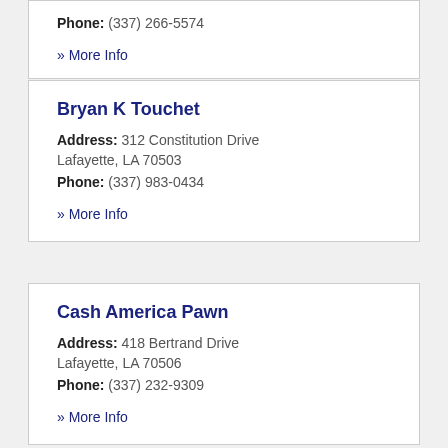Phone: (337) 266-5574
» More Info
Bryan K Touchet
Address: 312 Constitution Drive Lafayette, LA 70503
Phone: (337) 983-0434
» More Info
Cash America Pawn
Address: 418 Bertrand Drive Lafayette, LA 70506
Phone: (337) 232-9309
» More Info